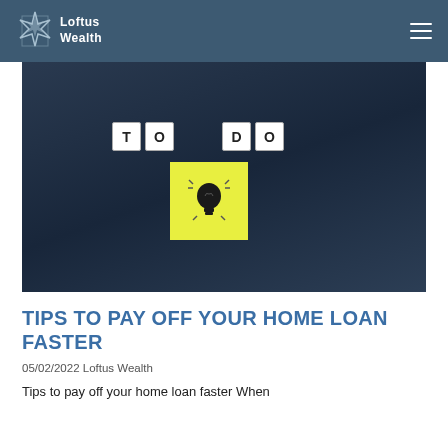Loftus Wealth
[Figure (photo): Dark navy background with scrabble-tile letters spelling 'TO DO' and a yellow sticky note with a black lightbulb icon below]
TIPS TO PAY OFF YOUR HOME LOAN FASTER
05/02/2022 Loftus Wealth
Tips to pay off your home loan faster When